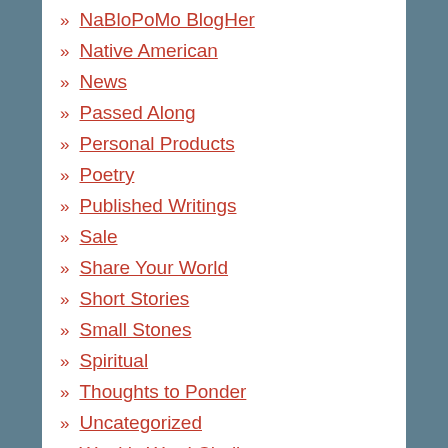» NaBloPoMo BlogHer
» Native American
» News
» Passed Along
» Personal Products
» Poetry
» Published Writings
» Sale
» Share Your World
» Short Stories
» Small Stones
» Spiritual
» Thoughts to Ponder
» Uncategorized
» Weekly Word Challenge